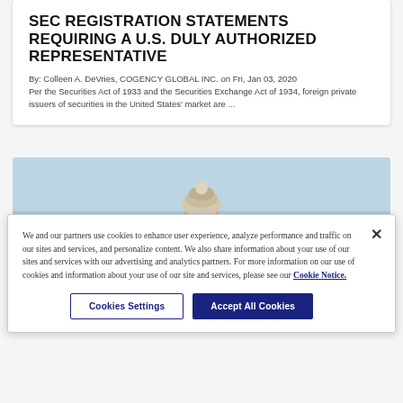SEC REGISTRATION STATEMENTS REQUIRING A U.S. DULY AUTHORIZED REPRESENTATIVE
By: Colleen A. DeVries, COGENCY GLOBAL INC. on Fri, Jan 03, 2020 Per the Securities Act of 1933 and the Securities Exchange Act of 1934, foreign private issuers of securities in the United States' market are ...
[Figure (photo): Photo of a smiling woman wearing a knit winter hat and glasses, with a light blue wintry background.]
We and our partners use cookies to enhance user experience, analyze performance and traffic on our sites and services, and personalize content. We also share information about your use of our sites and services with our advertising and analytics partners. For more information on our use of cookies and information about your use of our site and services, please see our Cookie Notice.